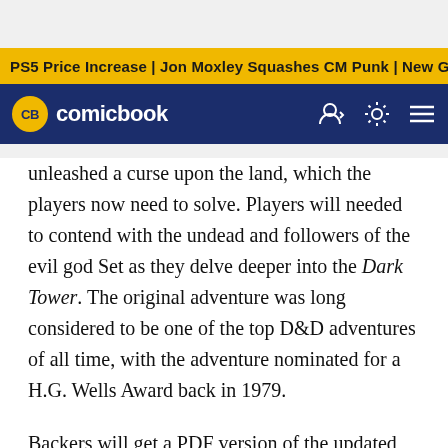PS5 Price Increase | Jon Moxley Squashes CM Punk | New Ge
CB comicbook
unleashed a curse upon the land, which the players now need to solve. Players will needed to contend with the undead and followers of the evil god Set as they delve deeper into the Dark Tower. The original adventure was long considered to be one of the top D&D adventures of all time, with the adventure nominated for a H.G. Wells Award back in 1979.
Backers will get a PDF version of the updated version of Dark Tower with a $50 pledge. The full three-volume set is available with a $50 pledge. Goodman Games also has a number of add-on items, including pewter miniatures of